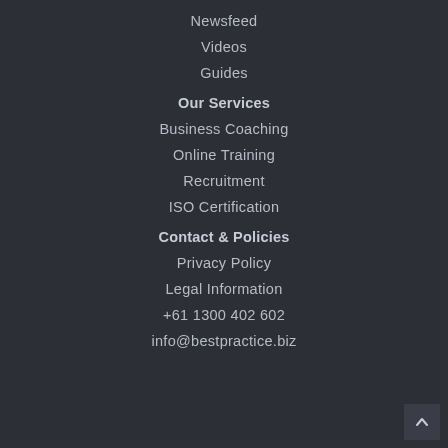Newsfeed
Videos
Guides
Our Services
Business Coaching
Online Training
Recruitment
ISO Certification
Contact & Policies
Privacy Policy
Legal Information
+61 1300 402 602
info@bestpractice.biz